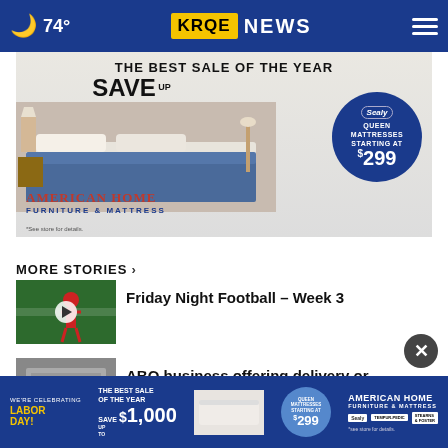🌙 74° | KRQE NEWS
[Figure (photo): American Home Furniture & Mattress advertisement: THE BEST SALE OF THE YEAR SAVE UP TO $1,000. Sealy Queen Mattresses Starting at $299. Bedroom scene with bed photo.]
MORE STORIES ›
[Figure (photo): Thumbnail image of football player on green field with play button overlay]
Friday Night Football – Week 3
[Figure (photo): Thumbnail image with play button overlay for ABQ business story]
ABQ business offering delivery or...
[Figure (photo): Bottom advertisement banner: American Home Furniture & Mattress - Labor Day Sale, THE BEST SALE OF THE YEAR, SAVE UP TO $1,000, Queen Mattresses Starting at $299, Tempur-Pedic, Stearns & Foster]